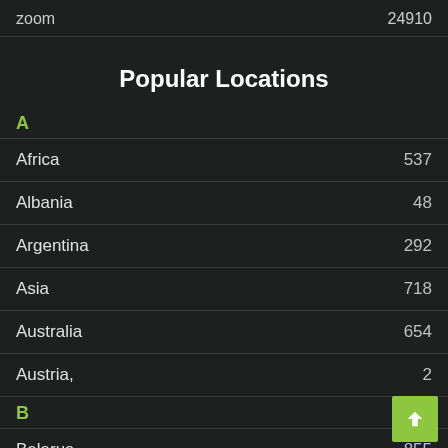zoom 24910
Popular Locations
A
Africa 537
Albania 48
Argentina 292
Asia 718
Australia 654
Austria, 2
B
Belarus 855
Belgium 246
Brazil ?? 115
Budapest